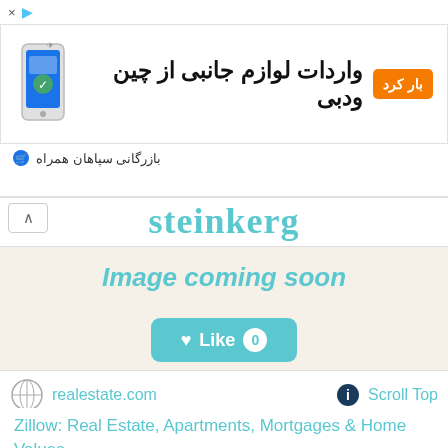[Figure (screenshot): Advertisement banner: orange button with Farsi text, Persian text 'واردات لوازم جانبی از چین ودبی', phone illustration, company name 'بازرگانی سپاهان همراه']
[Figure (screenshot): Partial website header showing 'steinkerg' in teal/cyan stylized font with a collapse/up arrow button]
Image coming soon
[Figure (other): Like button with heart icon showing count 0]
realestate.com
Scroll Top
Zillow: Real Estate, Apartments, Mortgages & Home Values
The leading real estate marketplace. Search millions of for-sale and rental listings, compare Zestimate® home values and connect with local professionals.